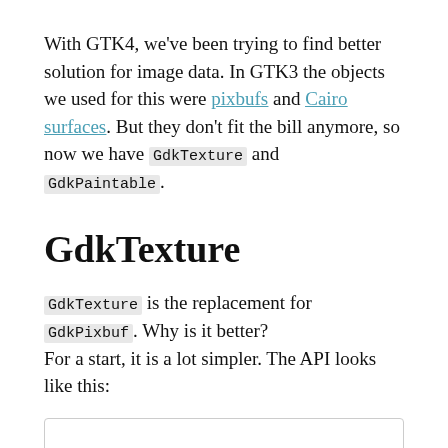With GTK4, we've been trying to find better solution for image data. In GTK3 the objects we used for this were pixbufs and Cairo surfaces. But they don't fit the bill anymore, so now we have GdkTexture and GdkPaintable.
GdkTexture
GdkTexture is the replacement for GdkPixbuf. Why is it better? For a start, it is a lot simpler. The API looks like this:
[Figure (screenshot): A code block box, partially visible at the bottom of the page.]